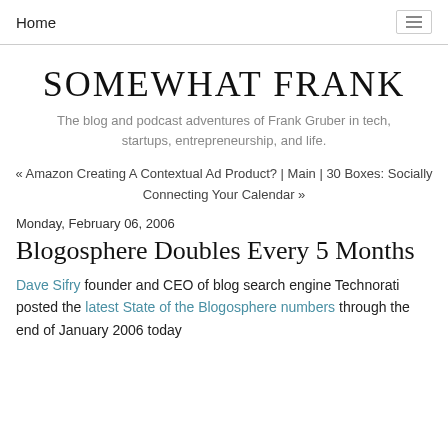Home
SOMEWHAT FRANK
The blog and podcast adventures of Frank Gruber in tech, startups, entrepreneurship, and life.
« Amazon Creating A Contextual Ad Product? | Main | 30 Boxes: Socially Connecting Your Calendar »
Monday, February 06, 2006
Blogosphere Doubles Every 5 Months
Dave Sifry founder and CEO of blog search engine Technorati posted the latest State of the Blogosphere numbers through the end of January 2006 today